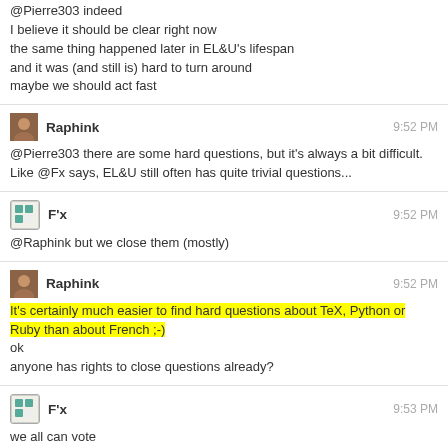@Pierre303 indeed
I believe it should be clear right now
the same thing happened later in EL&U's lifespan
and it was (and still is) hard to turn around
maybe we should act fast
Raphink 9:52 PM
@Pierre303 there are some hard questions, but it's always a bit difficult. Like @Fx says, EL&U still often has quite trivial questions...
F'x 9:52 PM
@Raphink but we close them (mostly)
Raphink 9:52 PM
It's certainly much easier to find hard questions about TeX, Python or Ruby than about French ;-)
ok
anyone has rights to close questions already?
F'x 9:53 PM
we all can vote
Pierre 303 9:53 PM
Yes I saw some vote to close questions already.
Raphink 9:54 PM
ok